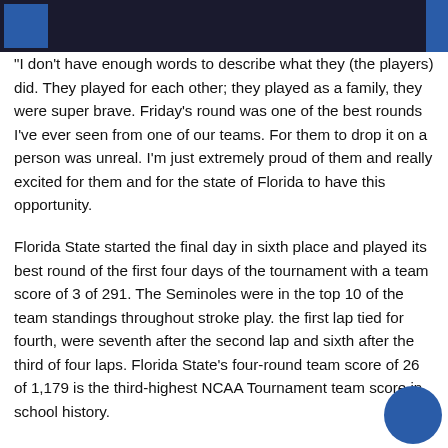“I don’t have enough words to describe what they (the players) did. They played for each other; they played as a family, they were super brave. Friday’s round was one of the best rounds I’ve ever seen from one of our teams. For them to drop it on a person was unreal. I’m just extremely proud of them and really excited for them and for the state of Florida to have this opportunity.
Florida State started the final day in sixth place and played its best round of the first four days of the tournament with a team score of 3 of 291. The Seminoles were in the top 10 of the team standings throughout stroke play. the first lap tied for fourth, were seventh after the second lap and sixth after the third of four laps. Florida State’s four-round team score of 26 of 1,179 is the third-highest NCAA Tournament team score in school history.